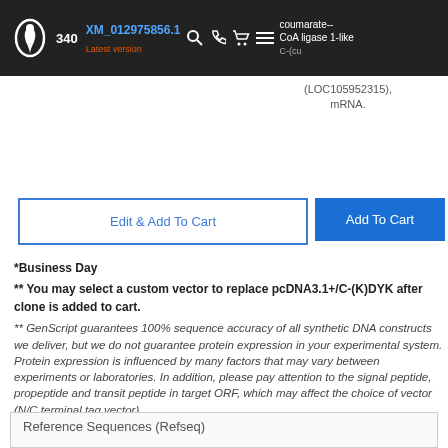OE[logo]340  XM_012975856.1  Latest version  [search icon] [phone icon] [cart icon] coumarate--CoA ligase 1-like (LOC105952315), mRNA.  [menu icon]  C-(custom)
(LOC105952315), mRNA.
Edit & Add To Cart
Add To Cart
*Business Day
** You may select a custom vector to replace pcDNA3.1+/C-(K)DYK after clone is added to cart.
** GenScript guarantees 100% sequence accuracy of all synthetic DNA constructs we deliver, but we do not guarantee protein expression in your experimental system. Protein expression is influenced by many factors that may vary between experiments or laboratories. In addition, please pay attention to the signal peptide, propeptide and transit peptide in target ORF, which may affect the choice of vector (N/C terminal tag vector).
***One clone ID might be correlated to multiple accession numbers, which share the same CDS sequence.
Reference Sequences (Refseq)